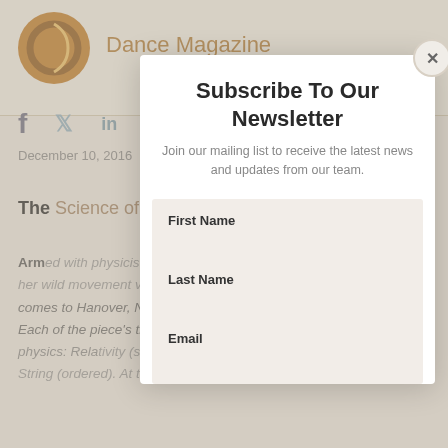[Figure (logo): Dance Magazine circular logo in gold/brown]
Dance Magazine
December 10, 2016
The Science of Art
Armed with physicist Brian Greene’s book The Elegant Universe and her wild movement vocabulary, Karole Armitage’s Three Theories comes to Hanover, NH (Jan. 14–15), and Burlington, VT (Jan. 28). Each of the piece’s three sections takes its cue from a theory in physics: Relativity (slow and lush), Quantum (frenzied), and String (ordered). At the New York premiere at the World
Subscribe To Our Newsletter
Join our mailing list to receive the latest news and updates from our team.
First Name
Last Name
Email